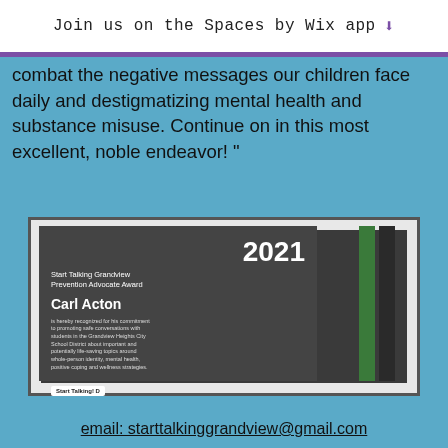Join us on the Spaces by Wix app ⬇
combat the negative messages our children face daily and destigmatizing mental health and substance misuse. Continue on in this most excellent, noble endeavor! "
[Figure (photo): A framed 2021 Start Talking Grandview Prevention Advocate Award plaque awarded to Carl Acton, with green and dark stripes on the right side.]
email:  starttalkinggrandview@gmail.com